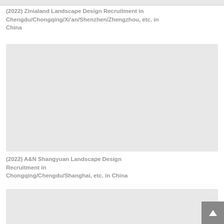(2022) Zinialand Landscape Design Recruitment in Chengdu/Chongqing/Xi'an/Shenzhen/Zhengzhou, etc. in China
[Figure (photo): Large gray placeholder image for Zinialand Landscape Design recruitment posting]
(2022) A&N Shangyuan Landscape Design Recruitment in Chongqing/Chengdu/Shanghai, etc. in China
[Figure (photo): Gray placeholder image for A&N Shangyuan Landscape Design recruitment posting, partially visible at bottom of page]